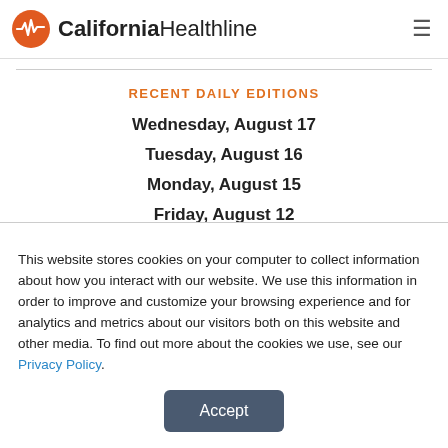California Healthline
RECENT DAILY EDITIONS
Wednesday, August 17
Tuesday, August 16
Monday, August 15
Friday, August 12
Thursday, August 11
Wednesday, August 10
This website stores cookies on your computer to collect information about how you interact with our website. We use this information in order to improve and customize your browsing experience and for analytics and metrics about our visitors both on this website and other media. To find out more about the cookies we use, see our Privacy Policy.
Accept